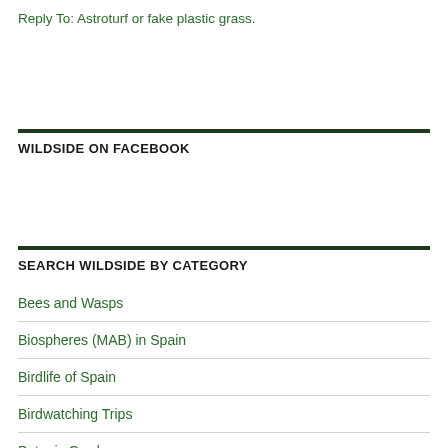Reply To: Astroturf or fake plastic grass.
WILDSIDE ON FACEBOOK
SEARCH WILDSIDE BY CATEGORY
Bees and Wasps
Biospheres (MAB) in Spain
Birdlife of Spain
Birdwatching Trips
Botanic Gardens